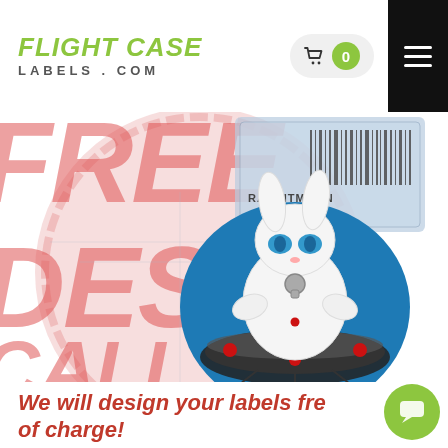FLIGHT CASE LABELS.COM
[Figure (illustration): Hero banner with large distressed red stamp text reading FREE DESIGN CALL NOW, overlaid with a cartoon rabbit mascot character sitting in a UFO/spaceship on a blue circle, and a label with barcode reading RABBITMOON 3200 in background]
We will design your labels free of charge!